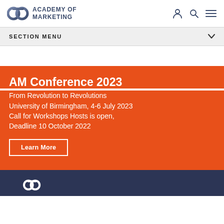Academy of Marketing
SECTION MENU
AM Conference 2023
From Revolution to Revolutions
University of Birmingham, 4-6 July 2023
Call for Workshops Hosts is open, Deadline 10 October 2022
Learn More